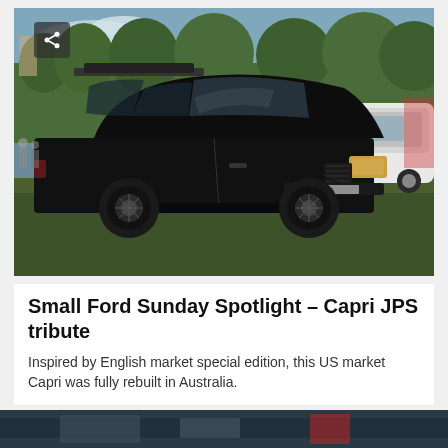[Figure (photo): Black Ford Capri JPS tribute car parked on grass at a car show, with a white car visible behind it on the right and trees in the background. A share icon button is overlaid in the top-left corner of the image.]
Small Ford Sunday Spotlight – Capri JPS tribute
Inspired by English market special edition, this US market Capri was fully rebuilt in Australia.
[Figure (photo): Partial view of the bottom edge of another car photo, dark toned, partially visible at the bottom of the page.]